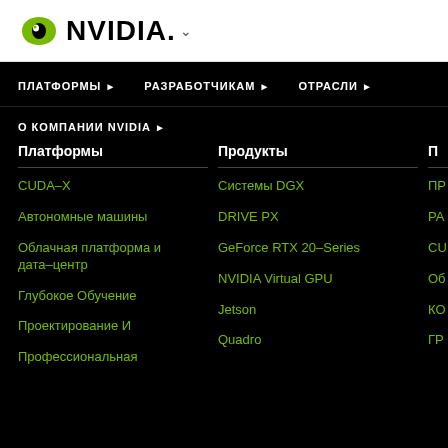[Figure (logo): NVIDIA logo with green eye icon and dropdown arrow]
ПЛАТФОРМЫ ▸   РАЗРАБОТЧИКАМ ▸   ОТРАСЛИ ▸
О КОМПАНИИ NVIDIA ▸
Платформы
Продукты
CUDA-X
Автономные машины
Облачная платформа и дата-центр
Глубокое Обучение
Проектирование И
Профессиональная
Системы DGX
DRIVE PX
GeForce RTX 20-Series
NVIDIA Virtual GPU
Jetson
Quadro